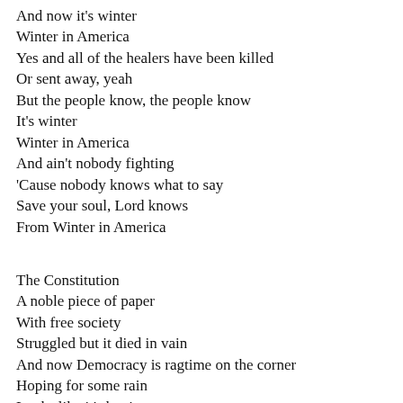And now it's winter
Winter in America
Yes and all of the healers have been killed
Or sent away, yeah
But the people know, the people know
It's winter
Winter in America
And ain't nobody fighting
'Cause nobody knows what to say
Save your soul, Lord knows
From Winter in America
The Constitution
A noble piece of paper
With free society
Struggled but it died in vain
And now Democracy is ragtime on the corner
Hoping for some rain
Looks like it's hoping
Hoping for some rain
And I see the robins
Perched in barren treetops
Watching the...